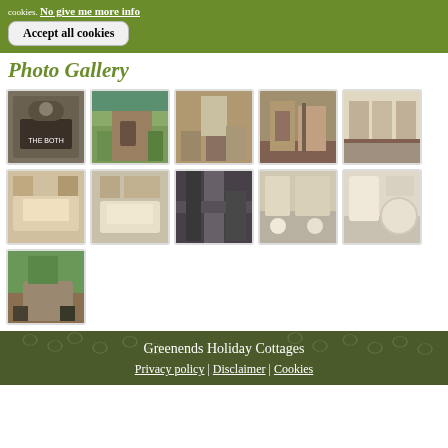cookies. No give me more info
Accept all cookies
Photo Gallery
[Figure (photo): Grid of 11 thumbnail photos of a holiday cottage interior and exterior: sign reading THE BOTH, exterior stone building, living room, dining area, kitchen, two bedroom views, hallway/bathroom, bathroom with sink, bathroom with tub, exterior garden/driveway]
Greenends Holiday Cottages
Privacy policy | Disclaimer | Cookies